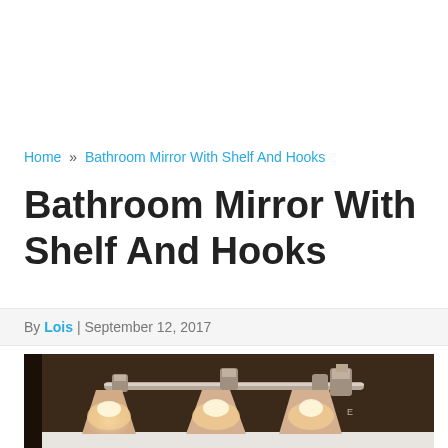Home » Bathroom Mirror With Shelf And Hooks
Bathroom Mirror With Shelf And Hooks
By Lois | September 12, 2017
[Figure (photo): A bathroom vanity light fixture with three frosted glass bell-shaped shades on a chrome bar, mounted above a mirror, against a dark brown wall.]